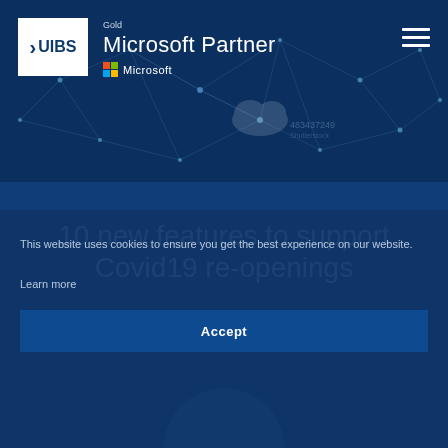[Figure (screenshot): UIBS website hero banner with network visualization background, UIBS logo, Gold Microsoft Partner badge with Microsoft logo, and hamburger menu icon]
10 new features to support Covid19 re-openings
This website uses cookies to ensure you get the best experience on our website.
Learn more
Accept